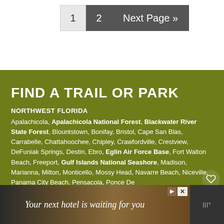1  2  Next Page »
FIND A TRAIL OR PARK
NORTHWEST FLORIDA
Apalachicola, Apalachicola National Forest, Blackwater River State Forest, Blountstown, Bonifay, Bristol, Cape San Blas, Carrabelle, Chattahoochee, Chipley, Crawfordville, Crestview, DeFuniak Springs, Destin, Ebro, Eglin Air Force Base, Fort Walton Beach, Freeport, Gulf Islands National Seashore, Madison, Marianna, Milton, Monticello, Mossy Head, Navarre Beach, Niceville, Panama City Beach, Pensacola, Ponce De...
[Figure (photo): Advertisement banner: hotel image with text 'Your next hotel is waiting for you']